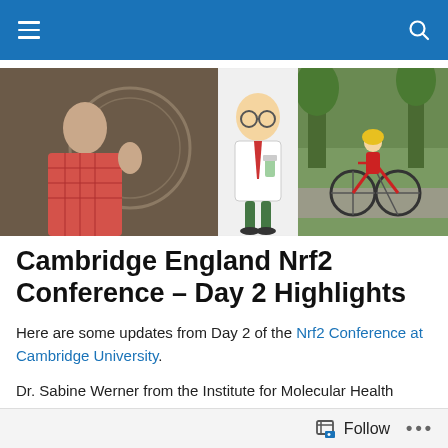Navigation bar with hamburger menu and search icon
[Figure (photo): Three images side by side: left shows a man in a red checkered shirt gesturing in front of a circular emblem; center shows a cartoon scientist in a white lab coat holding a flask; right shows a cyclist riding a bicycle on a road through green trees.]
Cambridge England Nrf2 Conference – Day 2 Highlights
Here are some updates from Day 2 of the Nrf2 Conference at Cambridge University.
Dr. Sabine Werner from the Institute for Molecular Health Science in Germany talked about the role of Nrf2 in the
Follow ...